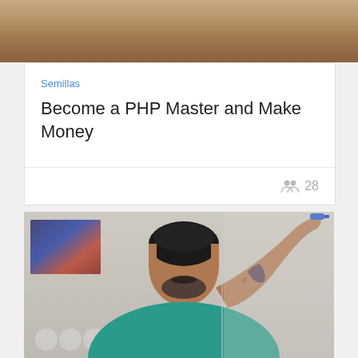[Figure (photo): Top portion of a photo showing a warm brown/tan background, appears to be a room setting]
Semillas
Become a PHP Master and Make Money
28 (people/students icon)
[Figure (photo): Photo of a man with dark hair and beard, wearing a teal shirt, with tattoos on his arm, holding a blue marker up toward a whiteboard or glass surface. Background shows colorful artwork on the wall.]